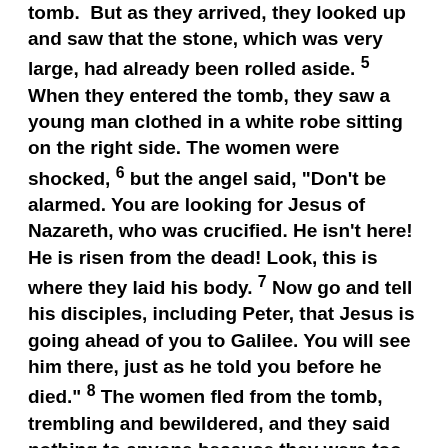tomb. But as they arrived, they looked up and saw that the stone, which was very large, had already been rolled aside. 5 When they entered the tomb, they saw a young man clothed in a white robe sitting on the right side. The women were shocked, 6 but the angel said, "Don't be alarmed. You are looking for Jesus of Nazareth, who was crucified. He isn't here! He is risen from the dead! Look, this is where they laid his body. 7 Now go and tell his disciples, including Peter, that Jesus is going ahead of you to Galilee. You will see him there, just as he told you before he died." 8 The women fled from the tomb, trembling and bewildered, and they said nothing to anyone because they were too frightened. Then they briefly reported all this to Peter and his companions. Afterward Jesus himself sent them out from east to west with the sacred and unfailing message of salvation that gives eternal life. Amen (NLT). From what Mark says about the resurrection, I believe we see who the resurrection of